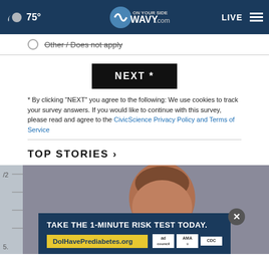75° WAVY.com ON YOUR SIDE — LIVE
Other / Does not apply
NEXT *
* By clicking "NEXT" you agree to the following: We use cookies to track your survey answers. If you would like to continue with this survey, please read and agree to the CivicScience Privacy Policy and Terms of Service
TOP STORIES ›
[Figure (photo): Mugshot photo of a person against a gray background with height ruler visible on left side]
TAKE THE 1-MINUTE RISK TEST TODAY. DoIHavePrediabetes.org